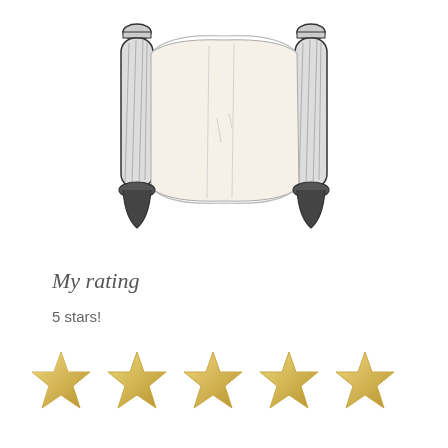[Figure (illustration): Black and white ink drawing of an open ancient scroll with two cylindrical rollers on the left and right sides, with curved parchment unfurling between them.]
My rating
5 stars!
[Figure (illustration): Five golden/yellow star shapes arranged in a horizontal row, representing a 5-star rating.]